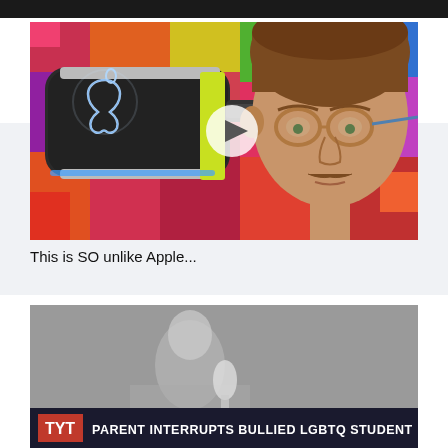[Figure (screenshot): Top dark bar, partial video thumbnail at very top of page]
[Figure (screenshot): Thumbnail showing Apple VR headset concept with glowing Apple logo and a young man with glasses, colorful pixel background, with play button overlay]
This is SO unlike Apple...
[Figure (screenshot): TYT news thumbnail showing lower third banner: TYT logo and text PARENT INTERRUPTS BULLIED LGBTQ STUDENT]